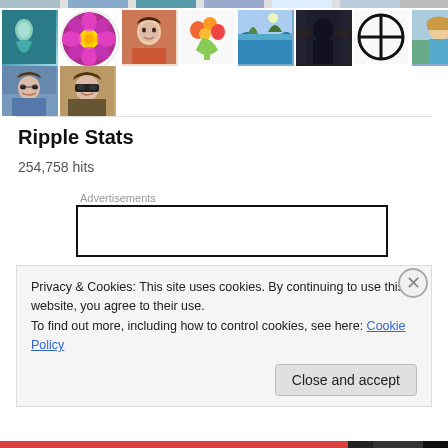[Figure (photo): Grid of avatar/thumbnail images arranged in rows — various people, flowers, landscapes, and icons]
Ripple Stats
254,758 hits
Advertisements
[Figure (other): Advertisement box with black border]
Privacy & Cookies: This site uses cookies. By continuing to use this website, you agree to their use.
To find out more, including how to control cookies, see here: Cookie Policy
Close and accept